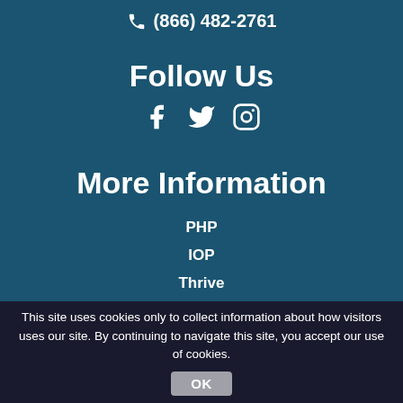(866) 482-2761
Follow Us
[Figure (other): Social media icons: Facebook, Twitter, Instagram]
More Information
PHP
IOP
Thrive
This site uses cookies only to collect information about how visitors uses our site. By continuing to navigate this site, you accept our use of cookies.